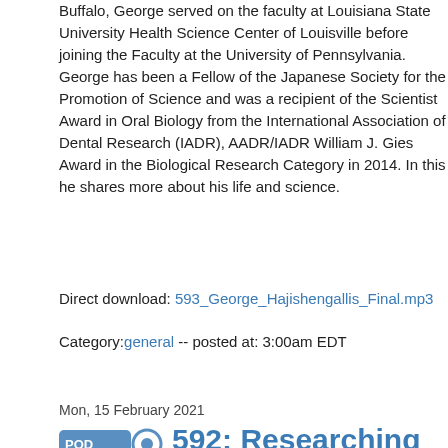Buffalo, George served on the faculty at Louisiana State University Health Science Center of Louisville before joining the Faculty at the University of Pennsylvania. George has been a Fellow of the Japanese Society for the Promotion of Science and was a recipient of the Scientist Award in Oral Biology from the International Association of Dental Research (IADR), AADR/IADR William J. Gies Award in the Biological Research Category in 2014. In this he shares more about his life and science.
Direct download: 593_George_Hajishengallis_Final.mp3
Category: general -- posted at: 3:00am EDT
Mon, 15 February 2021
592: Researching Human Function and Rehabilitation after Traumatic Brain Injury with John Whyte
Dr. John Whyte is the Founding Director and Institute Scientist Emeritus at the Moss Rehabilitation Research Institute (MRRI), as well as the Founding Director of the Responsiveness Program at the Traumatic Brain Injury Center at MossRehab. The goal of John's research is to help people perform the things they are interested in doing, regardless of any diseases or disabilities. Much of his work has been with traumatic brain injury (TBI), especially more severe traumatic brain injury. He is also advancing the field of rehabilitation research through developing novel methods, new assessments, a specification system to more systematically describe and deliver rehabilitation treatments. Outside of medicine, John enjoys cooking, music, and going for long walks in the city. In pre-pandemic times he also enjoyed going to the theater, but he hasn't been able to do this lately. John was awarded a PhD in cognitive psychology from the University of Pennsylvania. Afterwards, he completed a fellowship in physical medicine and rehabilitation at the University of Minnesota followed by a fellowship